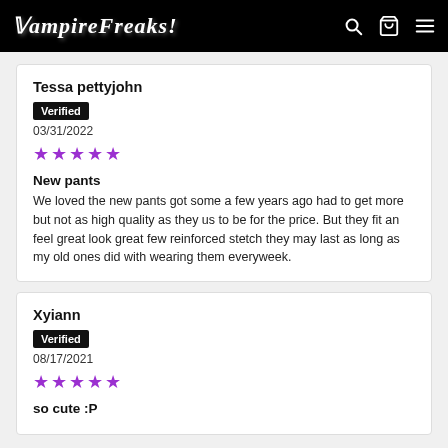VampireFreaks
Tessa pettyjohn
Verified
03/31/2022
★★★★★
New pants
We loved the new pants got some a few years ago had to get more but not as high quality as they us to be for the price. But they fit an feel great look great few reinforced stetch they may last as long as my old ones did with wearing them everyweek.
Xyiann
Verified
08/17/2021
★★★★★
so cute :P